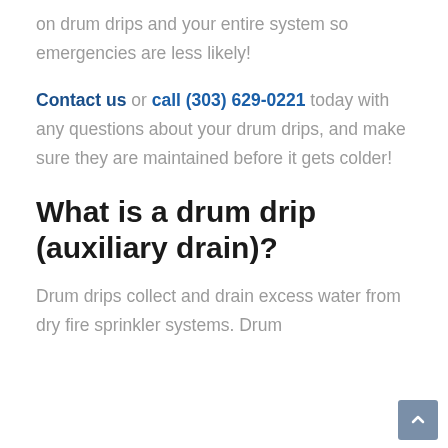on drum drips and your entire system so emergencies are less likely!
Contact us or call (303) 629-0221 today with any questions about your drum drips, and make sure they are maintained before it gets colder!
What is a drum drip (auxiliary drain)?
Drum drips collect and drain excess water from dry fire sprinkler systems. Drum